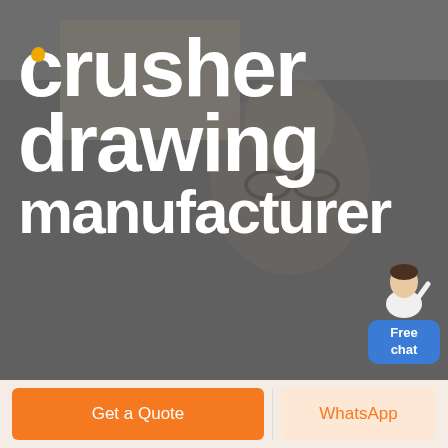[Figure (photo): Dark grey background with blurred image of a person wearing glasses, overlaid with large white bold text reading 'crusher drawing manufacturer'. A yellow dot accent replaces the 'o' in 'crusher'. A 'Free chat' widget button appears in the upper right with a customer service agent avatar.]
crusher drawing manufacturer
Free chat
Get a Quote
WhatsApp